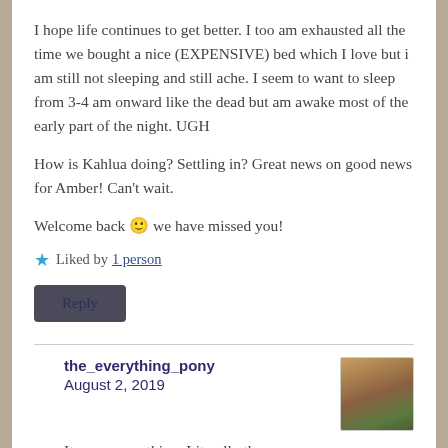I hope life continues to get better. I too am exhausted all the time we bought a nice (EXPENSIVE) bed which I love but i am still not sleeping and still ache. I seem to want to sleep from 3-4 am onward like the dead but am awake most of the early part of the night. UGH
How is Kahlua doing? Settling in? Great news on good news for Amber! Can't wait.
Welcome back 🙂 we have missed you!
★ Liked by 1 person
Reply
the_everything_pony
August 2, 2019
It was a near thing. Literally the